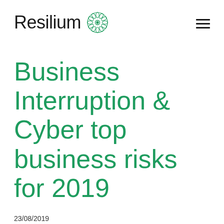Resilium
Business Interruption & Cyber top business risks for 2019
23/08/2019
For the seventh year in a row, Allianz's 2019